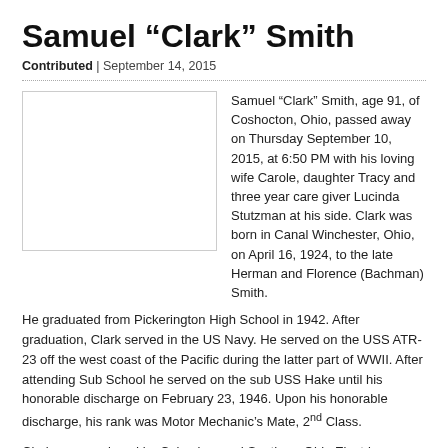Samuel “Clark” Smith
Contributed | September 14, 2015
[Figure (photo): Photo placeholder box (portrait image area, empty/white)]
Samuel “Clark” Smith, age 91, of Coshocton, Ohio, passed away on Thursday September 10, 2015, at 6:50 PM with his loving wife Carole, daughter Tracy and three year care giver Lucinda Stutzman at his side. Clark was born in Canal Winchester, Ohio, on April 16, 1924, to the late Herman and Florence (Bachman) Smith.
He graduated from Pickerington High School in 1942. After graduation, Clark served in the US Navy. He served on the USS ATR-23 off the west coast of the Pacific during the latter part of WWII. After attending Sub School he served on the sub USS Hake until his honorable discharge on February 23, 1946. Upon his honorable discharge, his rank was Motor Mechanic’s Mate, 2nd Class.
Clark was employed by Columbus and Southern Ohio Electric Company for 36 years, where he started at the Walnut Street Station and retired from